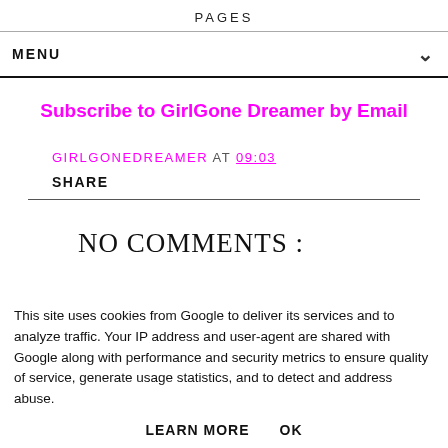PAGES
MENU
Subscribe to GirlGone Dreamer by Email
GIRLGONEDREAMER AT 09:03
SHARE
NO COMMENTS :
This site uses cookies from Google to deliver its services and to analyze traffic. Your IP address and user-agent are shared with Google along with performance and security metrics to ensure quality of service, generate usage statistics, and to detect and address abuse.
LEARN MORE    OK